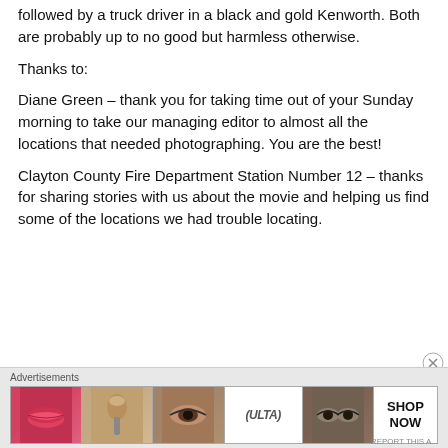followed by a truck driver in a black and gold Kenworth. Both are probably up to no good but harmless otherwise.
Thanks to:
Diane Green – thank you for taking time out of your Sunday morning to take our managing editor to almost all the locations that needed photographing. You are the best!
Clayton County Fire Department Station Number 12 – thanks for sharing stories with us about the movie and helping us find some of the locations we had trouble locating.
[Figure (other): Advertisement banner showing Ulta Beauty cosmetics ad with images of lips, makeup brush, eye, Ulta logo, eyes with makeup, and SHOP NOW text]
Advertisements